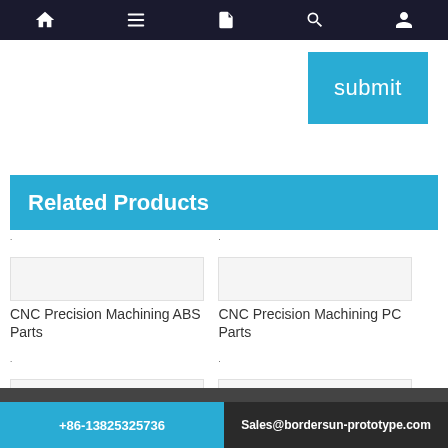Navigation bar with home, menu, document, search, and user icons
submit
Related Products
CNC Precision Machining ABS Parts
CNC Precision Machining PC Parts
CNC Precision Machining PA Parts
CNC Precision Machining PP Parts
+86-13825325736   Sales@bordersun-prototype.com